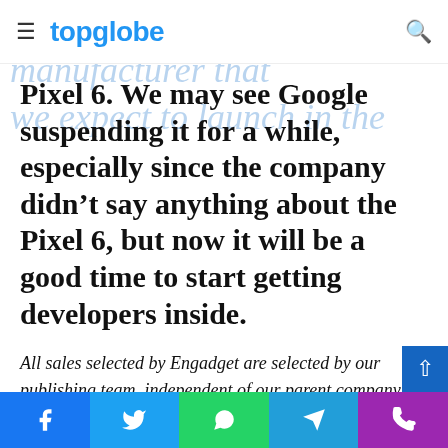topglobe
Pixel 6. We may see Google suspending it for a while, especially since the company didn’t say anything about the Pixel 6, but now it will be a good time to start getting developers inside.
All sales selected by Engadget are selected by our publishing team, independent of our parent company. Some of our articles include helpful links. If you purchase one of these links, we will be able to make a donation.
Social share bar: Facebook, Twitter, WhatsApp, Telegram, Phone